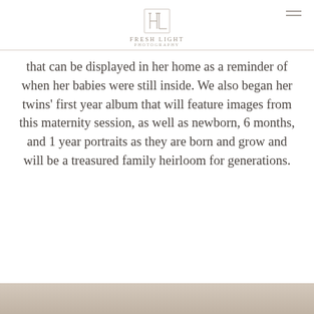FRESH LIGHT PHOTOGRAPHY
that can be displayed in her home as a reminder of when her babies were still inside. We also began her twins' first year album that will feature images from this maternity session, as well as newborn, 6 months, and 1 year portraits as they are born and grow and will be a treasured family heirloom for generations.
[Figure (photo): Bottom portion of a photograph visible at the bottom of the page, warm beige/tan tones]